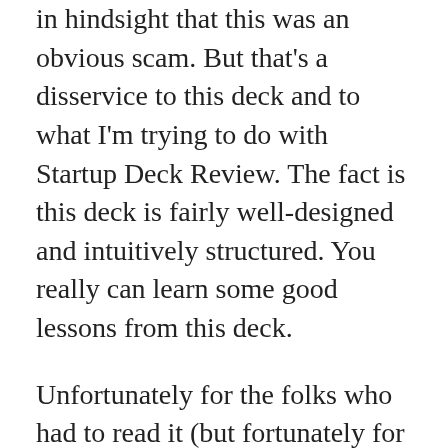in hindsight that this was an obvious scam. But that's a disservice to this deck and to what I'm trying to do with Startup Deck Review. The fact is this deck is fairly well-designed and intuitively structured. You really can learn some good lessons from this deck.
Unfortunately for the folks who had to read it (but fortunately for us), it's also a solid gold toilet of a pitch. And reading about what other people have done wrong is